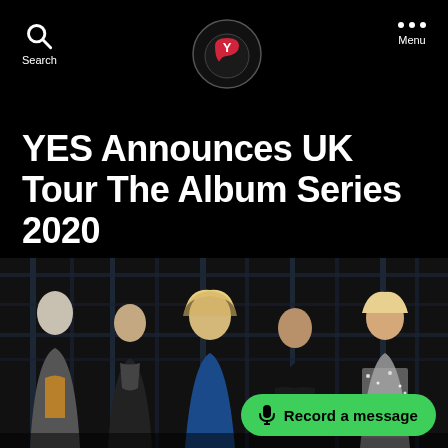Search | [Logo] | Menu
YES Announces UK Tour The Album Series 2020
October 9, 2019  10 Comments
[Figure (photo): Five members of the band YES posing in front of dark scaffolding/stage equipment backdrop]
Record a message